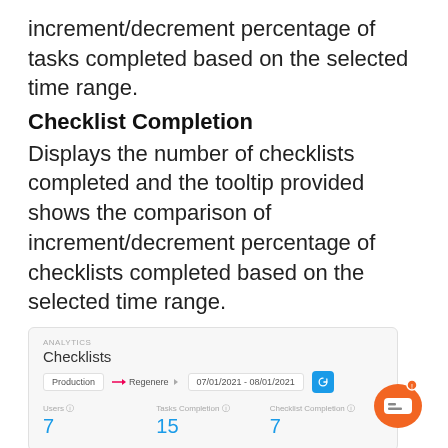increment/decrement percentage of tasks completed based on the selected time range.
Checklist Completion
Displays the number of checklists completed and the tooltip provided shows the comparison of increment/decrement percentage of checklists completed based on the selected time range.
[Figure (screenshot): Screenshot of an analytics dashboard showing 'Checklists' with Production filter, Regenere filter, date range 07/01/2021 - 08/01/2021. Metrics shown: Users 7, Tasks Completion 15, Checklist Completion 7.]
Onboarding Usage Graph
The statistics from the Onboarding Usage graph can be configured according to the following settings